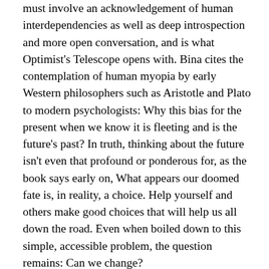must involve an acknowledgement of human interdependencies as well as deep introspection and more open conversation, and is what Optimist's Telescope opens with. Bina cites the contemplation of human myopia by early Western philosophers such as Aristotle and Plato to modern psychologists: Why this bias for the present when we know it is fleeting and is the future's past? In truth, thinking about the future isn't even that profound or ponderous for, as the book says early on, What appears our doomed fate is, in reality, a choice. Help yourself and others make good choices that will help us all down the road. Even when boiled down to this simple, accessible problem, the question remains: Can we change?

Yes, we can change, Bina argues, because we have. As I sit in an industry founded on long-term vision but is increasingly funded by impatient stockholders and constrained by their